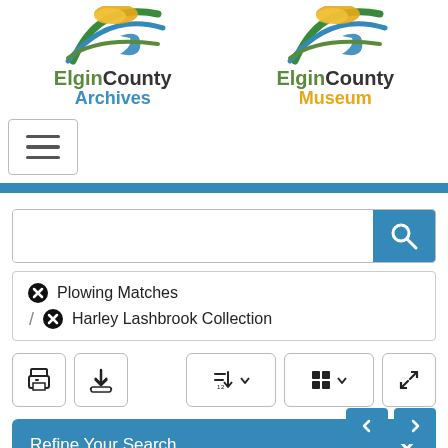[Figure (logo): Elgin County Archives logo with arc/wave graphic in green, orange, blue]
[Figure (logo): Elgin County Museum logo with arc/wave graphic in green, orange, blue]
[Figure (screenshot): Hamburger menu button (three horizontal lines) in a rounded rectangle border]
[Figure (screenshot): Search bar with empty text input and blue search button with magnifying glass icon]
✖ Plowing Matches / ✖ Harley Lashbrook Collection
[Figure (screenshot): Toolbar with print icon, download icon, sort icon with dropdown, list view icon with dropdown, expand icon]
Refine Your Search